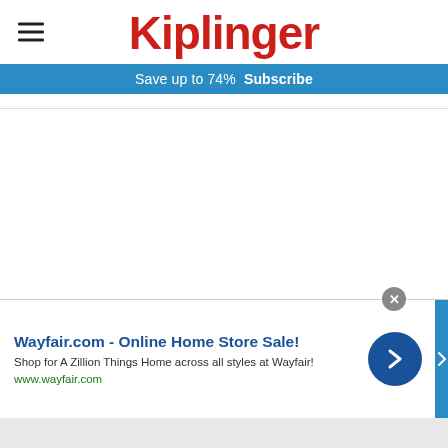Kiplinger
Save up to 74%  Subscribe
You may benefit from a more tax-efficient withdrawal strategy. Sell high, not low, right? It can pay to be strategic about which assets you sell to meet your
[Figure (other): Wayfair.com advertisement banner with title 'Wayfair.com - Online Home Store Sale!', subtitle 'Shop for A Zillion Things Home across all styles at Wayfair!', URL www.wayfair.com, and a blue circular arrow button]